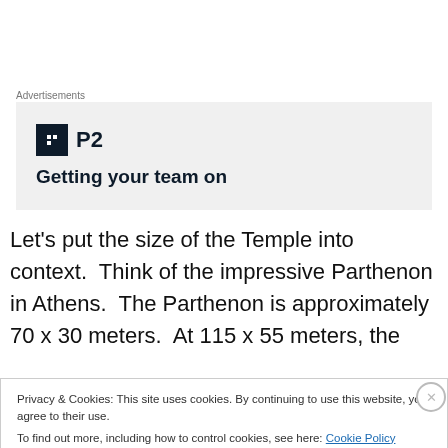Advertisements
[Figure (logo): P2 logo with icon and tagline 'Getting your team on']
Let’s put the size of the Temple into context.  Think of the impressive Parthenon in Athens.  The Parthenon is approximately 70 x 30 meters.  At 115 x 55 meters, the
Privacy & Cookies: This site uses cookies. By continuing to use this website, you agree to their use.
To find out more, including how to control cookies, see here: Cookie Policy
Close and accept